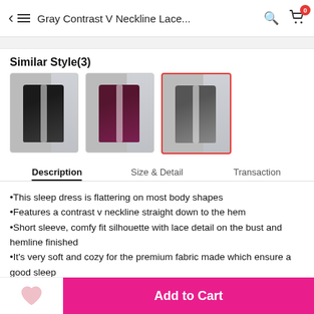Gray Contrast V Neckline Lace...
Similar Style(3)
[Figure (photo): Three clothing thumbnails showing similar style sleep dresses in black, purple/maroon, and gray colors. The gray one is selected with a red border.]
Description | Size & Detail | Transaction
•This sleep dress is flattering on most body shapes
•Features a contrast v neckline straight down to the hem
•Short sleeve, comfy fit silhouette with lace detail on the bust and hemline finished
•It's very soft and cozy for the premium fabric made which ensure a good sleep